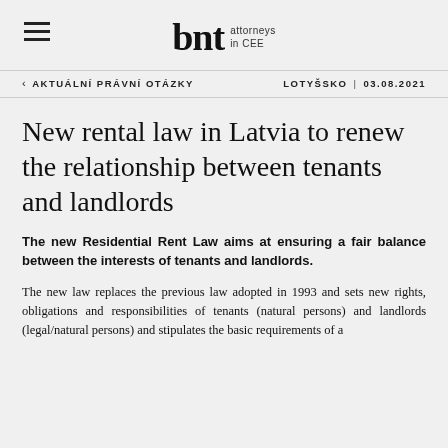bnt attorneys in CEE
‹  AKTUÁLNÍ PRÁVNÍ OTÁZKY    LOTYŠSKO  |  03.08.2021
New rental law in Latvia to renew the relationship between tenants and landlords
The new Residential Rent Law aims at ensuring a fair balance between the interests of tenants and landlords.
The new law replaces the previous law adopted in 1993 and sets new rights, obligations and responsibilities of tenants (natural persons) and landlords (legal/natural persons) and stipulates the basic requirements of a